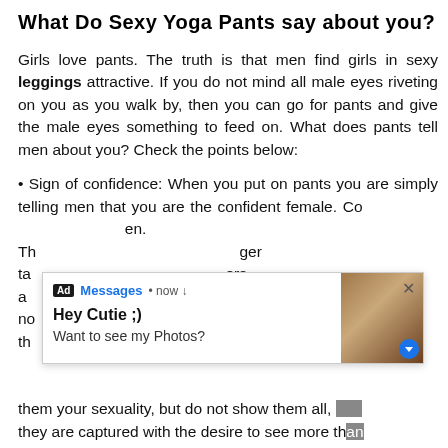What Do Sexy Yoga Pants say about you?
Girls love pants. The truth is that men find girls in sexy leggings attractive. If you do not mind all male eyes riveting on you as you walk by, then you can go for pants and give the male eyes something to feed on. What does pants tell men about you? Check the points below:
• Sign of confidence: When you put on pants you are simply telling men that you are the confident female. Confidence is one of the traits that men admire in women. The pants make you an even stronger and powerful danger target because the eyes of different men are riveted on you and like no other clothes, pants show the female physique in the most enticing ow them your sexuality, but do not show them all, and they are captured with the desire to see more than
[Figure (other): Ad overlay popup: Messages notification now - Hey Cutie ;) Want to see my Photos? with a thumbnail image of a person]